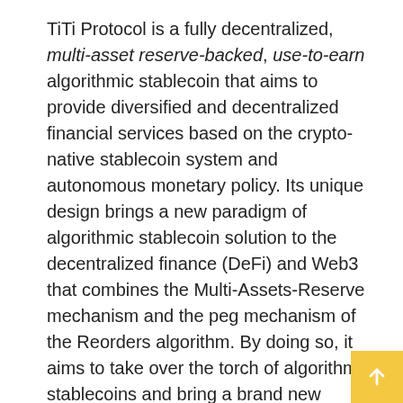TiTi Protocol is a fully decentralized, multi-asset reserve-backed, use-to-earn algorithmic stablecoin that aims to provide diversified and decentralized financial services based on the crypto-native stablecoin system and autonomous monetary policy. Its unique design brings a new paradigm of algorithmic stablecoin solution to the decentralized finance (DeFi) and Web3 that combines the Multi-Assets-Reserve mechanism and the peg mechanism of the Reorders algorithm. By doing so, it aims to take over the torch of algorithmic stablecoins and bring a brand new solution to DeFi and Web3 ecology.
TiTi Protocol's new use-to-earn token economic design will greatly boost algorithm stablecoin adoption and maximize the benefits for DeFi users, thus enabling the interoperability of algorithmic